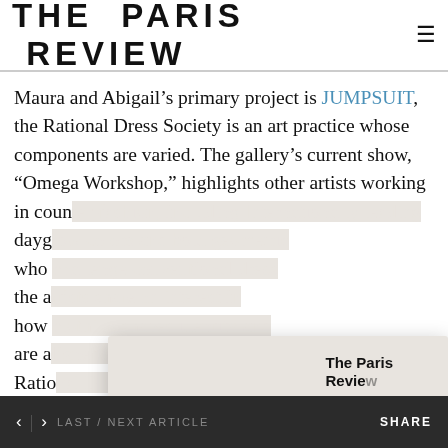THE PARIS REVIEW
Maura and Abigail’s primary project is JUMPSUIT, the Rational Dress Society is an art practice whose components are varied. The gallery’s current show, “Omega Workshop,” highlights other artists working in coun[ter-]fashion, including... [text continues behind modal]
[Figure (screenshot): Modal subscription advertisement for The Paris Review showing two magazine covers (The New Yorker and The Paris Review) with a plus sign between them, alongside text 'The Paris Review' with 'Subscribe to both magazines at a special price and get a year of great fiction and criticism delivered to your door.' and a blue 'Subscribe Now' button.]
< | > LAST / NEXT ARTICLE    SHARE